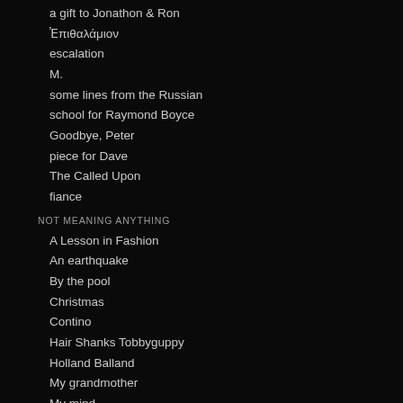a gift to Jonathon & Ron
Ἐπιθαλάμιον
escalation
M.
some lines from the Russian
school for Raymond Boyce
Goodbye, Peter
piece for Dave
The Called Upon
fiance
NOT MEANING ANYTHING
A Lesson in Fashion
An earthquake
By the pool
Christmas
Contino
Hair Shanks Tobbyguppy
Holland Balland
My grandmother
My mind
On a beach
Poetry Was Dead